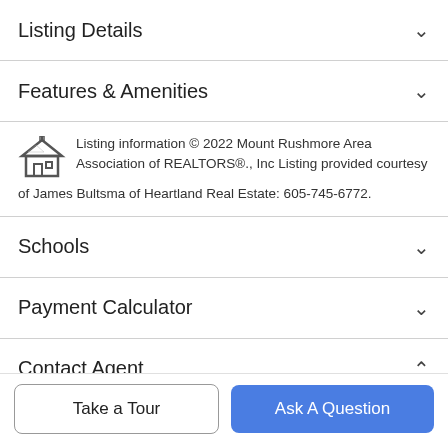Listing Details
Features & Amenities
Listing information © 2022 Mount Rushmore Area Association of REALTORS®., Inc Listing provided courtesy of James Bultsma of Heartland Real Estate: 605-745-6772.
Schools
Payment Calculator
Contact Agent
Take a Tour
Ask A Question